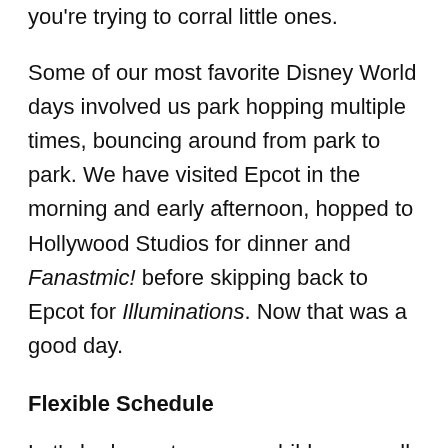some travel times. Park hopping can be taxing if you're trying to corral little ones.
Some of our most favorite Disney World days involved us park hopping multiple times, bouncing around from park to park. We have visited Epcot in the morning and early afternoon, hopped to Hollywood Studios for dinner and Fanastmic! before skipping back to Epcot for Illuminations. Now that was a good day.
Flexible Schedule
Let's be honest – young children are all about schedules. From nap times to early bed times,